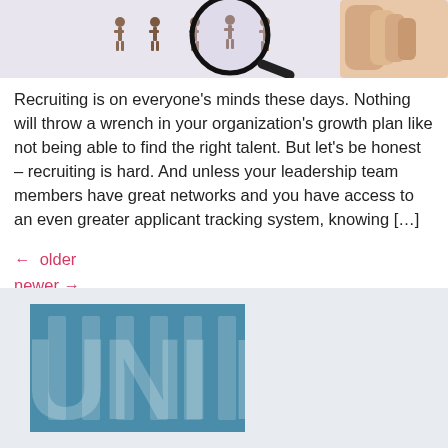[Figure (photo): Photo of a hand holding a magnifying glass over small figurines of people on a light background]
Recruiting is on everyone’s minds these days. Nothing will throw a wrench in your organization's growth plan like not being able to find the right talent. But let’s be honest – recruiting is hard. And unless your leadership team members have great networks and you have access to an even greater applicant tracking system, knowing […]
←  older
newer →
[Figure (logo): Partial logo image with teal/blue background and large letter forms visible — appears to be a company logo partially cropped]